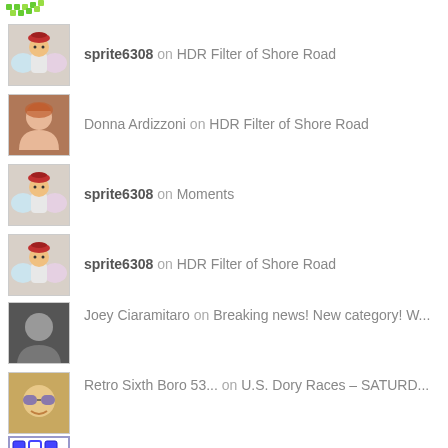[Figure (illustration): Small green pixel/grid icon at top]
sprite6308 on HDR Filter of Shore Road
Donna Ardizzoni on HDR Filter of Shore Road
sprite6308 on Moments
sprite6308 on HDR Filter of Shore Road
Joey Ciaramitaro on Breaking news! New category! W...
Retro Sixth Boro 53... on U.S. Dory Races – SATURD...
Jthor on Ribcraft Wavewalker Is Pretty...
Donna Ardizzoni on HDR Filter of Shore Road